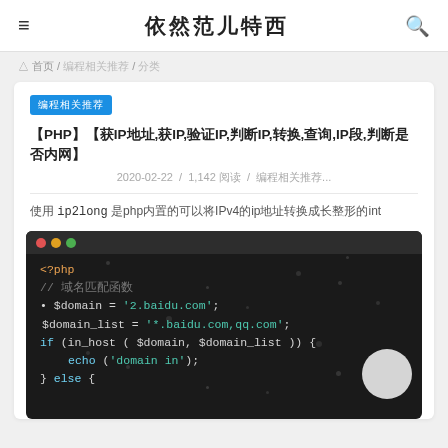依然范儿特西
首页 / 编程相关推荐 / 分类
编程相关推荐
【PHP】【获IP地址,获IP,验证IP,判断IP,转换,查询,IP段,判断是否内网】
2020-02-22 / 1,142 阅读 / 编程相关推荐...
使用 ip2long 是php内置的可以将IPv4的ip地址转换成长整形的int
[Figure (screenshot): PHP code block on dark background showing variables $domain and $domain_list with baidu.com and qq.com domains, and an if statement using in_host function]